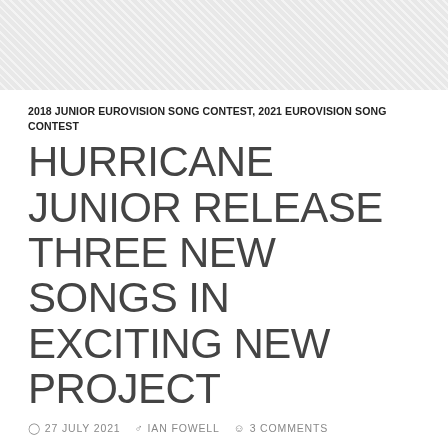[Figure (other): Hatched/diagonal stripe pattern background banner at top of page]
2018 JUNIOR EUROVISION SONG CONTEST, 2021 EUROVISION SONG CONTEST
HURRICANE JUNIOR RELEASE THREE NEW SONGS IN EXCITING NEW PROJECT
27 JULY 2021   IAN FOWELL   3 COMMENTS
Hurricane Junior are a spectacular new project from Serbia. They are a spin-off band of the popular band, Hurricane, who represented Serbia at the 2021 Eurovision Song Contest. Keeping the family together.